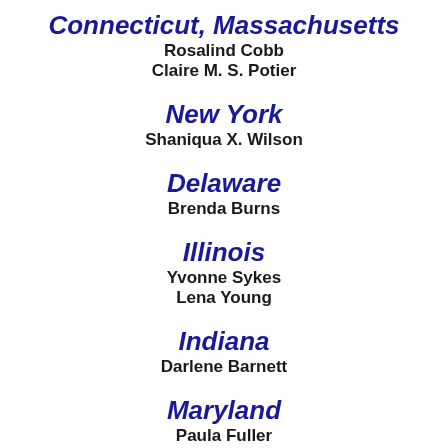Connecticut, Massachusetts
Rosalind Cobb
Claire M. S. Potier
New York
Shaniqua X. Wilson
Delaware
Brenda Burns
Illinois
Yvonne Sykes
Lena Young
Indiana
Darlene Barnett
Maryland
Paula Fuller